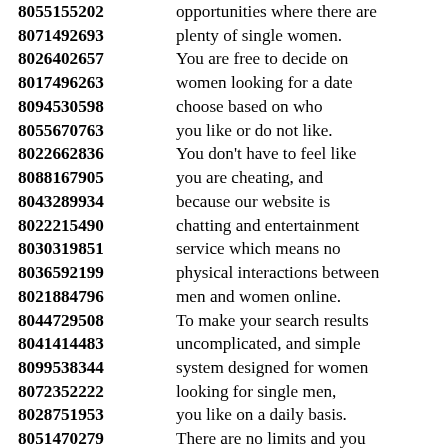8055155202 opportunities where there are
8071492693 plenty of single women.
8026402657 You are free to decide on
8017496263 women looking for a date
8094530598 choose based on who
8055670763 you like or do not like.
8022662836 You don't have to feel like
8088167905 you are cheating, and
8043289934 because our website is
8022215490 chatting and entertainment
8030319851 service which means no
8036592199 physical interactions between
8021884796 men and women online.
8044729508 To make your search results
8041414483 uncomplicated, and simple
8099538344 system designed for women
8072352222 looking for single men,
8028751953 you like on a daily basis.
8051470279 There are no limits and you
8098501294 are free to send messages
8066432641 to as many as you like
8091741464 without ever finding out.
8014444214
8092140779 It is really surprising to
8070846182 know that there are like minded
8052245748